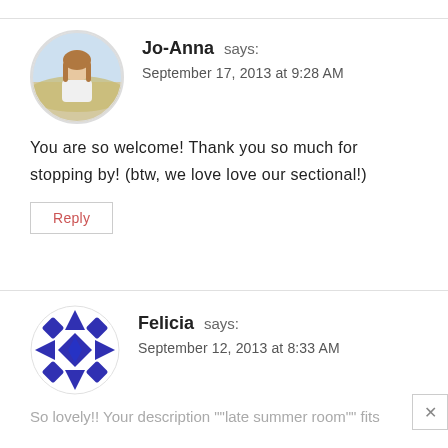Jo-Anna says:
September 17, 2013 at 9:28 AM
You are so welcome! Thank you so much for stopping by! (btw, we love love our sectional!)
Reply
Felicia says:
September 12, 2013 at 8:33 AM
So lovely!! Your description ""late summer room"" fits